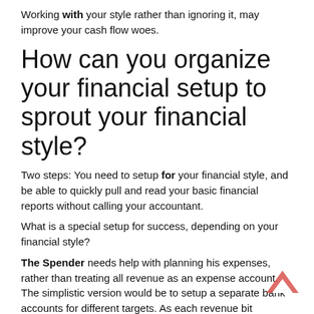Working with your style rather than ignoring it, may improve your cash flow woes.
How can you organize your financial setup to sprout your financial style?
Two steps: You need to setup for your financial style, and be able to quickly pull and read your basic financial reports without calling your accountant.
What is a special setup for success, depending on your financial style?
The Spender needs help with planning his expenses, rather than treating all revenue as an expense account. The simplistic version would be to setup a separate bank accounts for different targets. As each revenue bit